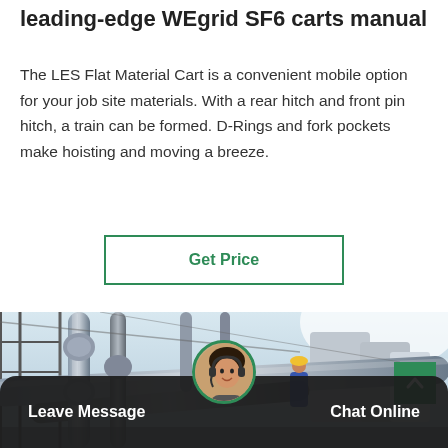leading-edge WEgrid SF6 carts manual
The LES Flat Material Cart is a convenient mobile option for your job site materials. With a rear hitch and front pin hitch, a train can be formed. D-Rings and fork pockets make hoisting and moving a breeze.
Get Price
[Figure (photo): Industrial facility with large pipes, scaffolding, and storage tanks. Workers visible in background.]
Leave Message
Chat Online